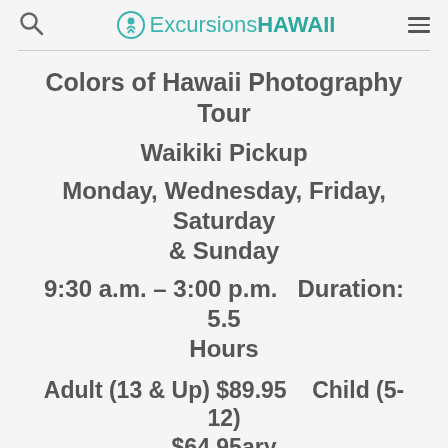ExcursionsHAWAII
Colors of Hawaii Photography Tour
Waikiki Pickup
Monday, Wednesday, Friday, Saturday & Sunday
9:30 a.m. – 3:00 p.m.   Duration: 5.5 Hours
Adult (13 & Up) $89.95    Child (5-12) $64.95ary
Infant (4 & Under) $19.95
Local/Military $79.95